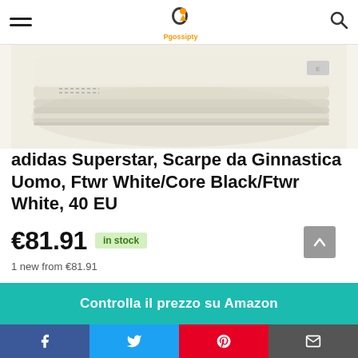Pgossipty
[Figure (photo): Close-up photo of the sole and side of an Adidas Superstar sneaker in creamy white/off-white color]
adidas Superstar, Scarpe da Ginnastica Uomo, Ftwr White/Core Black/Ftwr White, 40 EU
€81.91  in stock
1 new from €81.91
Controlla il prezzo su Amazon